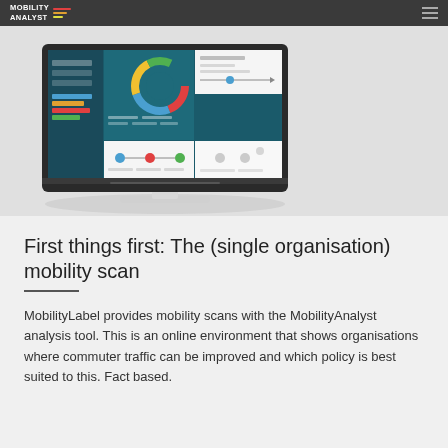MOBILITY ANALYST
[Figure (screenshot): Screenshot of the MobilityAnalyst software interface displayed on a desktop computer monitor, showing dashboard with charts including a donut chart and various data panels, on a light gray background.]
First things first: The (single organisation) mobility scan
MobilityLabel provides mobility scans with the MobilityAnalyst analysis tool. This is an online environment that shows organisations where commuter traffic can be improved and which policy is best suited to this. Fact based.